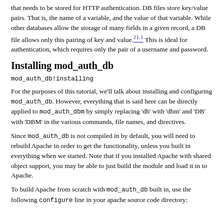that needs to be stored for HTTP authentication. DB files store key/value pairs. That is, the name of a variable, and the value of that variable. While other databases allow the storage of many fields in a given record, a DB file allows only this pairing of key and value.21.1 This is ideal for authentication, which requires only the pair of a username and password.
Installing mod_auth_db
mod_auth_db!installing
For the purposes of this tutorial, we'll talk about installing and configuring mod_auth_db. However, everything that is said here can be directly applied to mod_auth_dbm by simply replacing 'db' with 'dbm' and 'DB' with 'DBM' in the various commands, file names, and directives.
Since mod_auth_db is not compiled in by default, you will need to rebuild Apache in order to get the functionality, unless you built in everything when we started. Note that if you installed Apache with shared object support, you may be able to just build the module and load it in to Apache.
To build Apache from scratch with mod_auth_db built in, use the following configure line in your apache source code directory: